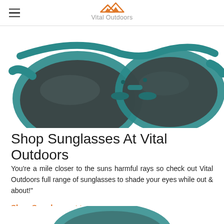Vital Outdoors
[Figure (photo): Close-up photo of teal/turquoise sport sunglasses with dark polarized lenses, cropped to show primarily the lens and frame area]
Shop Sunglasses At Vital Outdoors
You're a mile closer to the suns harmful rays so check out Vital Outdoors full range of sunglasses to shade your eyes while out & about!"
Shop Sunglasses >>
[Figure (photo): Partial view of another pair of sunglasses, teal colored, at the bottom of the page]